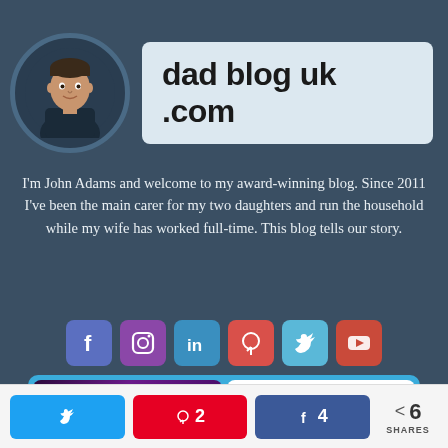[Figure (logo): Dad Blog UK header with circular avatar photo of John Adams and blog title 'dad blog uk .com' on light blue background]
I'm John Adams and welcome to my award-winning blog. Since 2011 I've been the main carer for my two daughters and run the household while my wife has worked full-time. This blog tells our story.
[Figure (infographic): Row of 6 social media icons: Facebook (blue-purple), Instagram (purple), LinkedIn (teal), Pinterest (red), Twitter (light blue), YouTube (red-orange)]
[Figure (infographic): Media logos panel on light blue background showing BBC Newsnight, Sky News, BBC Radio 4, The Telegraph, ITV News, and one more logo]